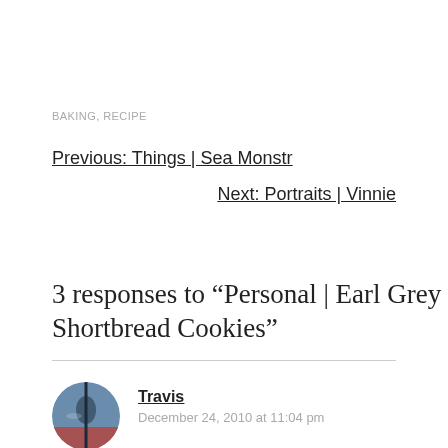BAKING, RECIPE
Previous: Things | Sea Monstr
Next: Portraits | Vinnie
3 responses to “Personal | Earl Grey Shortbread Cookies”
Travis
December 24, 2010 at 11:04 pm